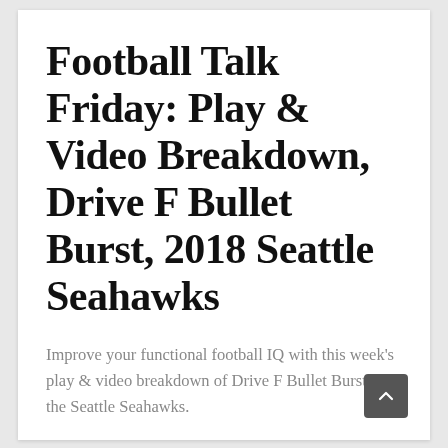Football Talk Friday: Play & Video Breakdown, Drive F Bullet Burst, 2018 Seattle Seahawks
Improve your functional football IQ with this week's play & video breakdown of Drive F Bullet Burst and the Seattle Seahawks.
by Tim Jenkins